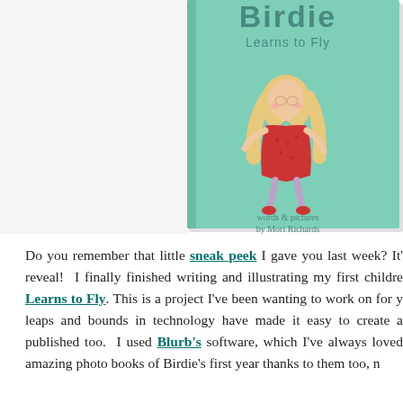[Figure (illustration): Book cover for 'Birdie Learns to Fly' on a mint/teal green background. A girl with long blonde hair wearing a red dress is illustrated. Text reads 'words & pictures by Mori Richards'. The book cover is shown at an angle with a subtle shadow.]
Do you remember that little sneak peek I gave you last week? It's reveal! I finally finished writing and illustrating my first childre Learns to Fly. This is a project I've been wanting to work on for y leaps and bounds in technology have made it easy to create a published too. I used Blurb's software, which I've always loved amazing photo books of Birdie's first year thanks to them too, n